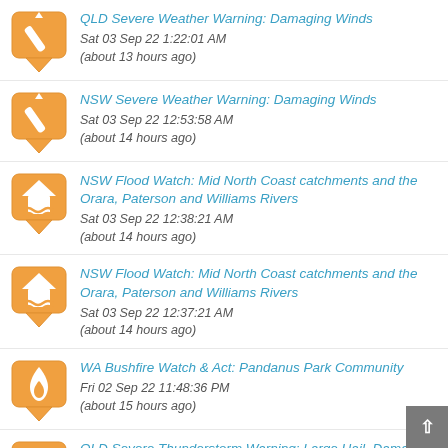QLD Severe Weather Warning: Damaging Winds
Sat 03 Sep 22 1:22:01 AM
(about 13 hours ago)
NSW Severe Weather Warning: Damaging Winds
Sat 03 Sep 22 12:53:58 AM
(about 14 hours ago)
NSW Flood Watch: Mid North Coast catchments and the Orara, Paterson and Williams Rivers
Sat 03 Sep 22 12:38:21 AM
(about 14 hours ago)
NSW Flood Watch: Mid North Coast catchments and the Orara, Paterson and Williams Rivers
Sat 03 Sep 22 12:37:21 AM
(about 14 hours ago)
WA Bushfire Watch & Act: Pandanus Park Community
Fri 02 Sep 22 11:48:36 PM
(about 15 hours ago)
QLD Severe Thunderstorm Warning: Large Hail, Damaging Winds